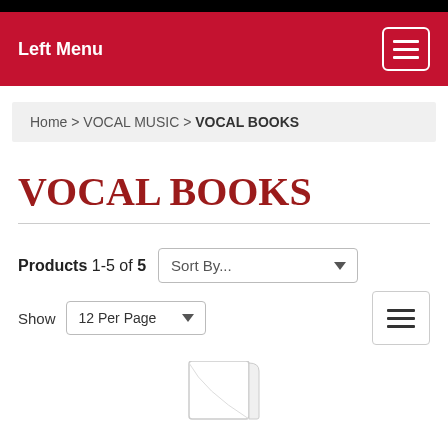Left Menu
Home > VOCAL MUSIC > VOCAL BOOKS
VOCAL BOOKS
Products 1-5 of 5  Sort By...  Show 12 Per Page
[Figure (illustration): Partial book cover preview at bottom of page]